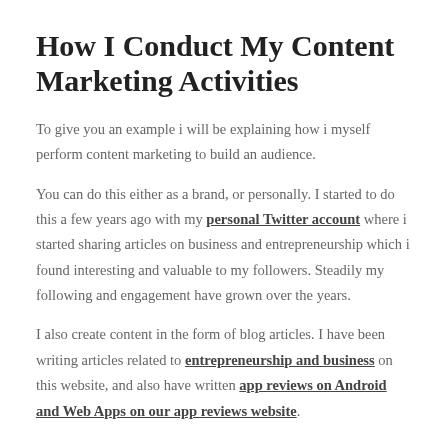How I Conduct My Content Marketing Activities
To give you an example i will be explaining how i myself perform content marketing to build an audience.
You can do this either as a brand, or personally. I started to do this a few years ago with my personal Twitter account where i started sharing articles on business and entrepreneurship which i found interesting and valuable to my followers. Steadily my following and engagement have grown over the years.
I also create content in the form of blog articles. I have been writing articles related to entrepreneurship and business on this website, and also have written app reviews on Android and Web Apps on our app reviews website.